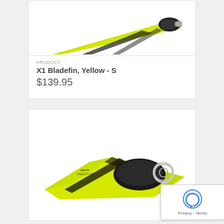[Figure (photo): Yellow and black Atomic Aquatics X1 Bladefin diving fin, partial view from above, cropped at top of page]
PRODUCT
X1 Bladefin, Yellow - S
$139.95
[Figure (photo): Yellow and black Atomic Aquatics X1 Bladefin diving fin, full product shot angled view showing blade and foot pocket with adjustable strap]